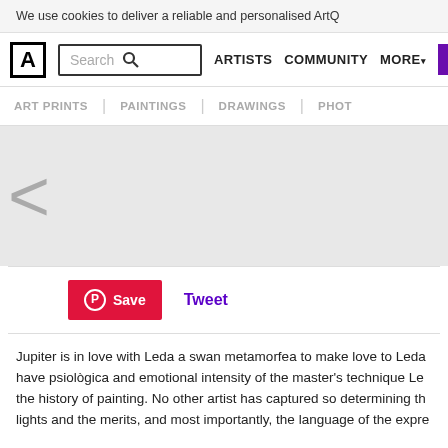We use cookies to deliver a reliable and personalised ArtQ
A | Search | ARTISTS | COMMUNITY | MORE | + Add
ART PRINTS | PAINTINGS | DRAWINGS | PHOT
[Figure (screenshot): Left navigation arrow on gray background]
[Figure (screenshot): Social sharing bar with Pinterest Save button and Tweet link]
Jupiter is in love with Leda a swan metamorfea to make love to Leda have psiològica and emotional intensity of the master's technique Le the history of painting. No other artist has captured so determining th lights and the merits, and most importantly, the language of the expre